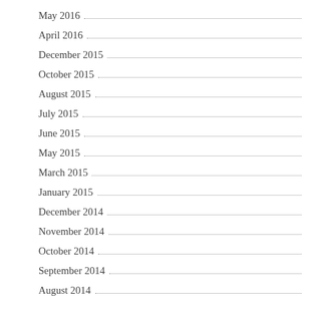May 2016
April 2016
December 2015
October 2015
August 2015
July 2015
June 2015
May 2015
March 2015
January 2015
December 2014
November 2014
October 2014
September 2014
August 2014